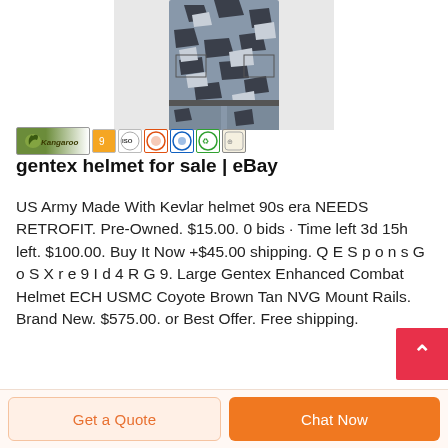[Figure (photo): Product photo showing a person wearing urban/grey camouflage military BDU uniform, cropped to show torso and legs area]
[Figure (logo): Kangaroo brand logo bar with certification badges]
gentex helmet for sale | eBay
US Army Made With Kevlar helmet 90s era NEEDS RETROFIT. Pre-Owned. $15.00. 0 bids · Time left 3d 15h left. $100.00. Buy It Now +$45.00 shipping. Q E S p o n s G o S X r e 9 I d 4 R G 9. Large Gentex Enhanced Combat Helmet ECH USMC Coyote Brown Tan NVG Mount Rails. Brand New. $575.00. or Best Offer. Free shipping.